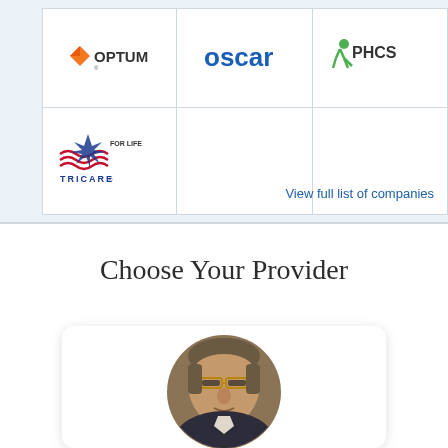[Figure (logo): Insurance company logos grid: Optum, Oscar, PHCS, and Tricare For Life]
View full list of companies
Choose Your Provider
[Figure (photo): Circular portrait photo of a middle-aged man with glasses and short gray-brown hair, wearing a dark jacket, displayed inside a rounded card]